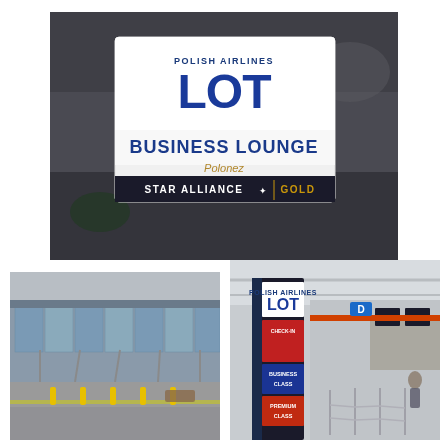[Figure (photo): LOT Polish Airlines Business Lounge Polonez sign on glass door showing POLISH AIRLINES LOT logo, BUSINESS LOUNGE Polonez text, and STAR ALLIANCE GOLD banner. Dark blurred airport background visible behind glass.]
[Figure (photo): Exterior view of a modern airport terminal building with glass facade and covered walkway. Rainy conditions, yellow bollards on the road.]
[Figure (photo): Interior of airport terminal check-in area showing LOT Polish Airlines Star Alliance Gold check-in totem sign with Business Class and Premium Class banners, queue barriers, and airport hall with monitors in background.]